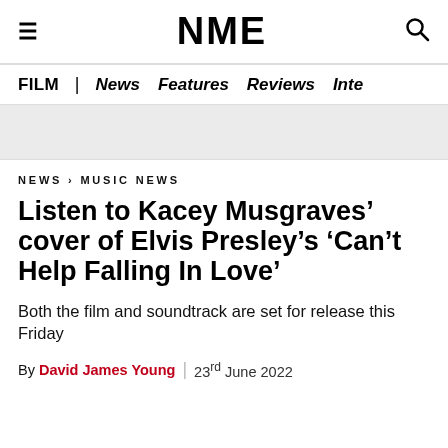NME
FILM | News Features Reviews Inte
NEWS › MUSIC NEWS
Listen to Kacey Musgraves' cover of Elvis Presley's 'Can't Help Falling In Love'
Both the film and soundtrack are set for release this Friday
By David James Young | 23rd June 2022